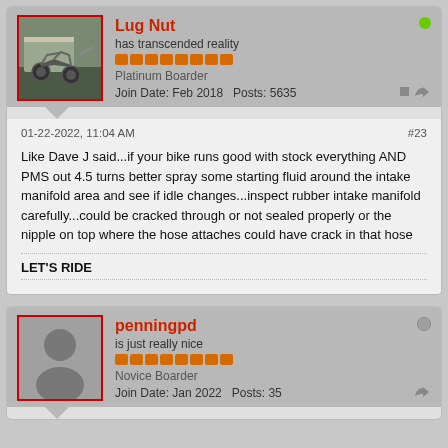Lug Nut
has transcended reality
Platinum Boarder
Join Date: Feb 2018   Posts: 5635
01-22-2022, 11:04 AM
#23
Like Dave J said...if your bike runs good with stock everything AND PMS out 4.5 turns better spray some starting fluid around the intake manifold area and see if idle changes...inspect rubber intake manifold carefully...could be cracked through or not sealed properly or the nipple on top where the hose attaches could have crack in that hose
LET'S RIDE
penningpd
is just really nice
Novice Boarder
Join Date: Jan 2022   Posts: 35